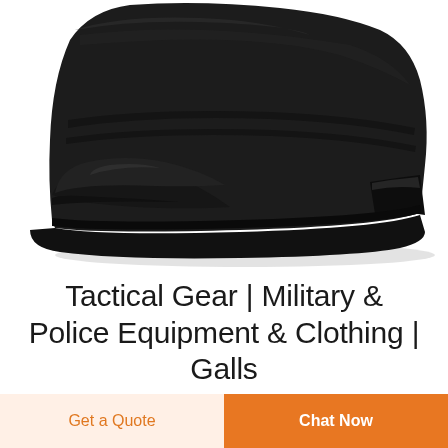[Figure (photo): Close-up photograph of a black leather tactical/police boot showing the toe cap, upper, and sole against a white background.]
Tactical Gear | Military & Police Equipment & Clothing | Galls
From specialized storage of rifles and pistols, armor
Get a Quote
Chat Now